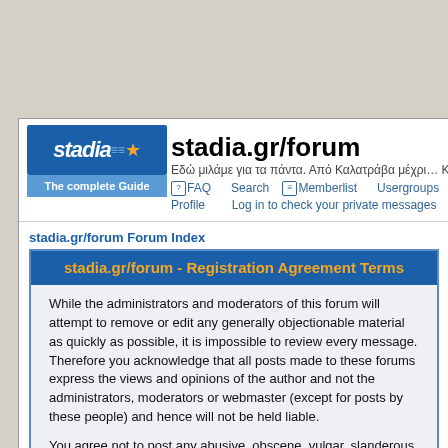stadia.gr/forum
Εδώ μιλάμε για τα πάντα. Από Καλατράβα μέχρι… Καλο…
FAQ  Search  Memberlist  Usergroups  R…
Profile  Log in to check your private messages  L…
stadia.gr/forum Forum Index
stadia.gr/forum - Registration Agreement Terms
While the administrators and moderators of this forum will attempt to remove or edit any generally objectionable material as quickly as possible, it is impossible to review every message. Therefore you acknowledge that all posts made to these forums express the views and opinions of the author and not the administrators, moderators or webmaster (except for posts by these people) and hence will not be held liable.
You agree not to post any abusive, obscene, vulgar, slanderous, hateful, threatening, sexually-oriented or any other material that may violate any applicable laws. Doing so may lead to you being immediately and permanently banned (and your service provider being informed). The IP address of all posts is recorded to aid in enforcing these conditions. You